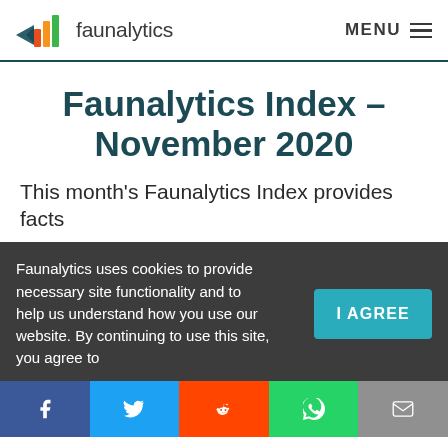faunalytics  MENU
Faunalytics Index – November 2020
This month's Faunalytics Index provides facts
Faunalytics uses cookies to provide necessary site functionality and to help us understand how you use our website. By continuing to use this site, you agree to
I AGREE